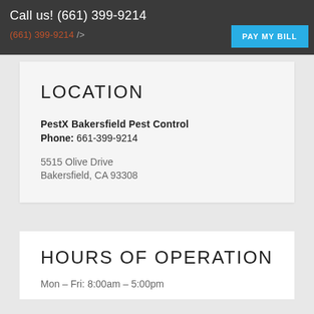Call us! (661) 399-9214
(661) 399-9214 />
PAY MY BILL
LOCATION
PestX Bakersfield Pest Control
Phone: 661-399-9214

5515 Olive Drive
Bakersfield, CA 93308
HOURS OF OPERATION
Mon – Fri: 8:00am – 5:00pm